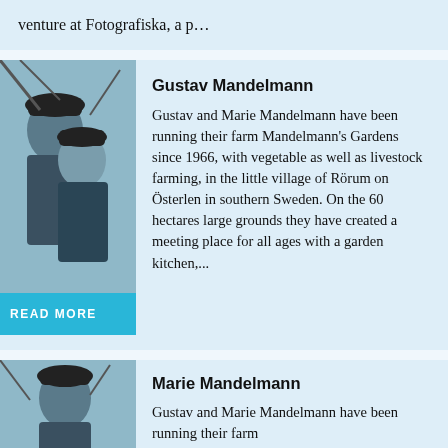venture at Fotografiska, a p…
Gustav Mandelmann
Gustav and Marie Mandelmann have been running their farm Mandelmann's Gardens since 1966, with vegetable as well as livestock farming, in the little village of Rörum on Österlen in southern Sweden. On the 60 hectares large grounds they have created a meeting place for all ages with a garden kitchen,...
[Figure (photo): Photo of Gustav and Marie Mandelmann]
READ MORE
Marie Mandelmann
Gustav and Marie Mandelmann have been running their farm
[Figure (photo): Photo of Gustav Mandelmann]